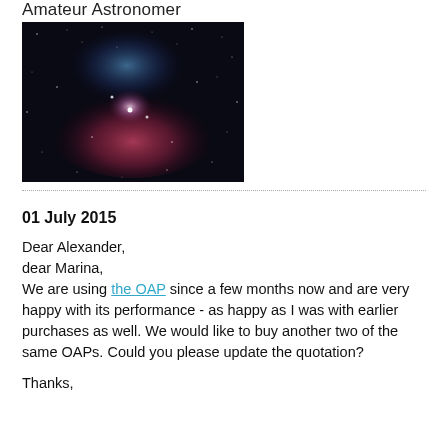Amateur Astronomer
[Figure (photo): Astronomical nebula photograph showing a colorful nebula with red, blue and pink hues against a dark star field background.]
01 July 2015
Dear Alexander,
dear Marina,
We are using the OAP since a few months now and are very happy with its performance - as happy as I was with earlier purchases as well. We would like to buy another two of the same OAPs. Could you please update the quotation?
Thanks,